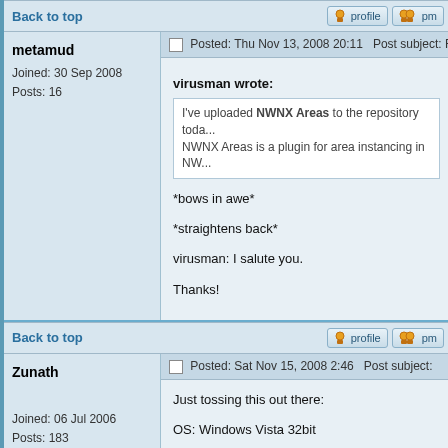Back to top
metamud
Joined: 30 Sep 2008
Posts: 16
Posted: Thu Nov 13, 2008 20:11   Post subject: Re: Expe
virusman wrote:
I've uploaded NWNX Areas to the repository toda... NWNX Areas is a plugin for area instancing in NW...
*bows in awe*

*straightens back*

virusman: I salute you.

Thanks!
Back to top
Zunath
Joined: 06 Jul 2006
Posts: 183
Posted: Sat Nov 15, 2008 2:46   Post subject:
Just tossing this out there:

OS: Windows Vista 32bit

Instancing works great up to a certain point. I was... I relogged so they would show in the chooser. I the... jumped to one of the areas I created before the re...

At that point I received this error: